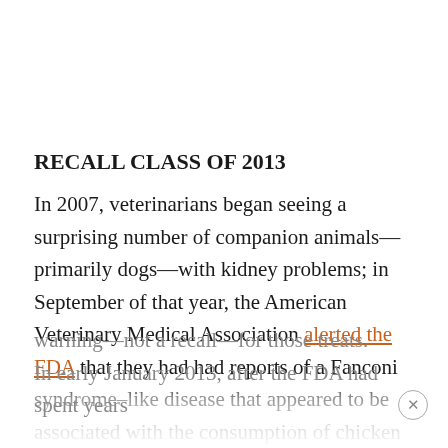RECALL CLASS OF 2013
In 2007, veterinarians began seeing a surprising number of companion animals—primarily dogs—with kidney problems; in September of that year, the American Veterinary Medical Association alerted the FDA that they had had reports of a Fanconi syndrome–like disease that appeared to be associated with the consumption of chicken jerky treats made in China. As a result, the FDA issued its first cautionary warning—not a recall—for those treats. In early January 2013, after the FDA had spent years
warning—not a recall—for those treats. In early January 2013, after the FDA had spent years